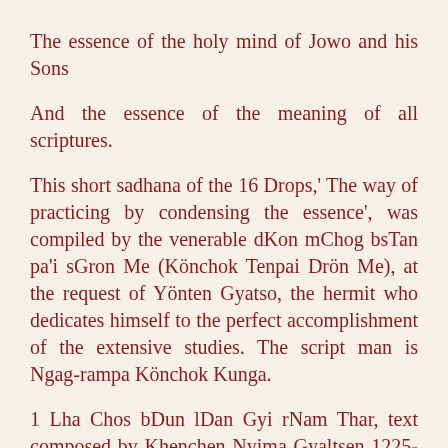The essence of the holy mind of Jowo and his Sons
And the essence of the meaning of all scriptures.
This short sadhana of the 16 Drops,' The way of practicing by condensing the essence', was compiled by the venerable dKon mChog bsTan pa'i sGron Me (Könchok Tenpai Drön Me), at the request of Yönten Gyatso, the hermit who dedicates himself to the perfect accomplishment of the extensive studies. The script man is Ngag-rampa Könchok Kunga.
1 Lha Chos bDun lDan Gyi rNam Thar, text composed by Khenchen Nyima Gyaltsen 1225-1305. 'Sevenfold divinity and teaching' refers to the 'Four Kadam Deities'; Buddha, Avalokiteshvara, Tara and the Protector Achala and the 'Three Dharmas': the teachings on the Three